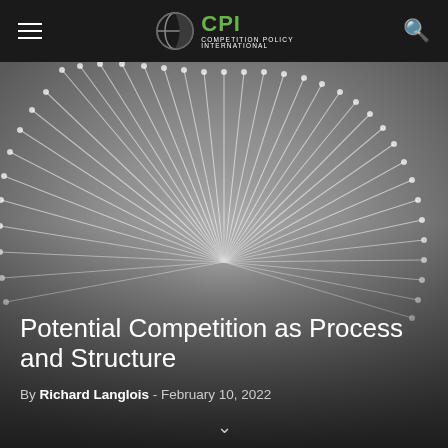CPI COMPETITION POLICY INTERNATIONAL
[Figure (illustration): Abstract radial pattern of white lines/spokes emanating from a central circular region on a grey gradient background, resembling a sunburst or fan pattern. Used as hero image background.]
Potential Competition as Process and Structure
By Richard Langlois - February 10, 2022